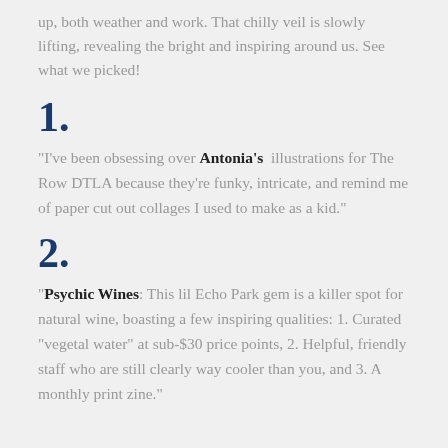up, both weather and work. That chilly veil is slowly lifting, revealing the bright and inspiring around us. See what we picked!
1.
“I’ve been obsessing over Antonia’s illustrations for The Row DTLA because they’re funky, intricate, and remind me of paper cut out collages I used to make as a kid.”
2.
“Psychic Wines: This lil Echo Park gem is a killer spot for natural wine, boasting a few inspiring qualities: 1. Curated “vegetal water” at sub-$30 price points, 2. Helpful, friendly staff who are still clearly way cooler than you, and 3. A monthly print zine.”